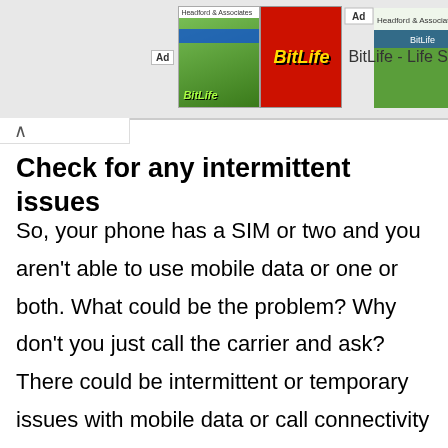[Figure (screenshot): Advertisement banner for BitLife - Life S app, showing green background ad image and red BitLife logo]
Check for any intermittent issues
So, your phone has a SIM or two and you aren't able to use mobile data or one or both. What could be the problem? Why don't you just call the carrier and ask? There could be intermittent or temporary issues with mobile data or call connectivity with the carrier which is why you are facing this issue. If this is a prolonged issue, consider porting to a different carrier and verify if